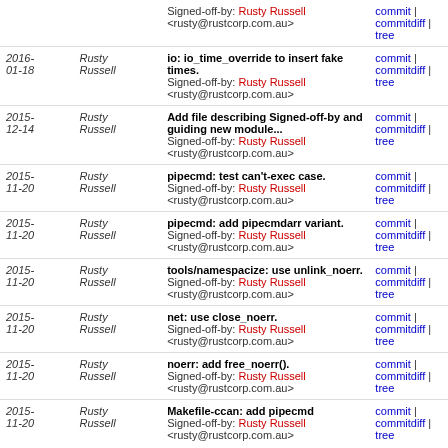| Date | Author | Message | Links |
| --- | --- | --- | --- |
|  |  | Signed-off-by: Rusty Russell <rusty@rustcorp.com.au> | commit | commitdiff | tree |
| 2016-01-18 | Rusty Russell | io: io_time_override to insert fake times.
Signed-off-by: Rusty Russell <rusty@rustcorp.com.au> | commit | commitdiff | tree |
| 2015-12-14 | Rusty Russell | Add file describing Signed-off-by and guiding new module...
Signed-off-by: Rusty Russell <rusty@rustcorp.com.au> | commit | commitdiff | tree |
| 2015-11-20 | Rusty Russell | pipecmd: test can't-exec case.
Signed-off-by: Rusty Russell <rusty@rustcorp.com.au> | commit | commitdiff | tree |
| 2015-11-20 | Rusty Russell | pipecmd: add pipecmdarr variant.
Signed-off-by: Rusty Russell <rusty@rustcorp.com.au> | commit | commitdiff | tree |
| 2015-11-20 | Rusty Russell | tools/namespacize: use unlink_noerr.
Signed-off-by: Rusty Russell <rusty@rustcorp.com.au> | commit | commitdiff | tree |
| 2015-11-20 | Rusty Russell | net: use close_noerr.
Signed-off-by: Rusty Russell <rusty@rustcorp.com.au> | commit | commitdiff | tree |
| 2015-11-20 | Rusty Russell | noerr: add free_noerr().
Signed-off-by: Rusty Russell <rusty@rustcorp.com.au> | commit | commitdiff | tree |
| 2015-11-20 | Rusty Russell | Makefile-ccan: add pipecmd
Signed-off-by: Rusty Russell <rusty@rustcorp.com.au> | commit | commitdiff | tree |